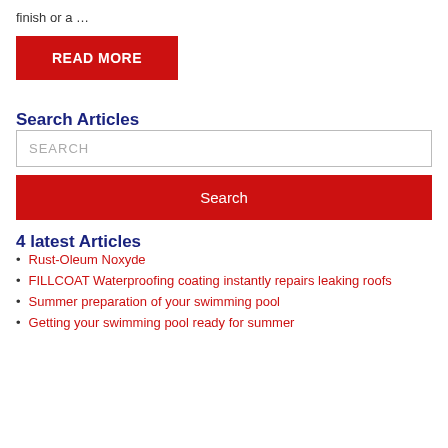finish or a …
READ MORE
Search Articles
SEARCH
Search
4 latest Articles
Rust-Oleum Noxyde
FILLCOAT Waterproofing coating instantly repairs leaking roofs
Summer preparation of your swimming pool
Getting your swimming pool ready for summer